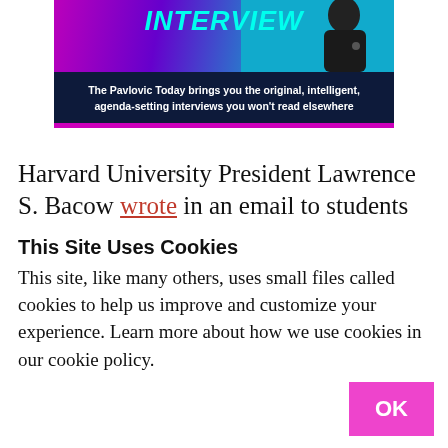[Figure (illustration): Banner image for The Pavlovic Today interview series. Top portion has a colorful gradient (pink/purple/cyan) with the word INTERVIEW in bold cyan italic text and a silhouette of a person at right. Bottom dark navy section has bold white text: 'The Pavlovic Today brings you the original, intelligent, agenda-setting interviews you won't read elsewhere'. A pink bar runs along the bottom edge.]
Harvard University President Lawrence S. Bacow wrote in an email to students
This Site Uses Cookies
This site, like many others, uses small files called cookies to help us improve and customize your experience. Learn more about how we use cookies in our cookie policy.
OK